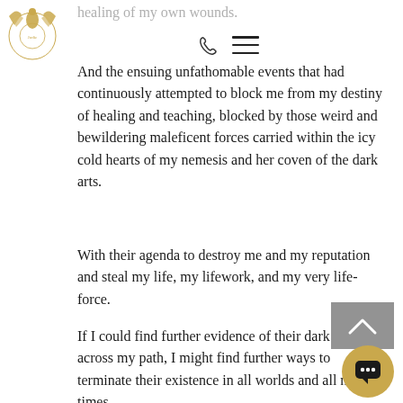[Figure (logo): Gold and white phoenix/bird logo with circular emblem]
healing of my own wounds.
And the ensuing unfathomable events that had continuously attempted to block me from my destiny of healing and teaching, blocked by those weird and bewildering maleficent forces carried within the icy cold hearts of my nemesis and her coven of the dark arts.
With their agenda to destroy me and my reputation and steal my life, my lifework, and my very life-force.
If I could find further evidence of their dark tracks across my path, I might find further ways to terminate their existence in all worlds and all my times.